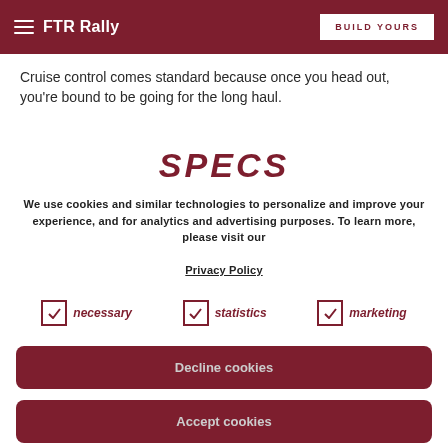FTR Rally | BUILD YOURS
Cruise control comes standard because once you head out, you're bound to be going for the long haul.
SPECS
We use cookies and similar technologies to personalize and improve your experience, and for analytics and advertising purposes. To learn more, please visit our Privacy Policy
necessary (checked)
statistics (checked)
marketing (checked)
Decline cookies
Accept cookies